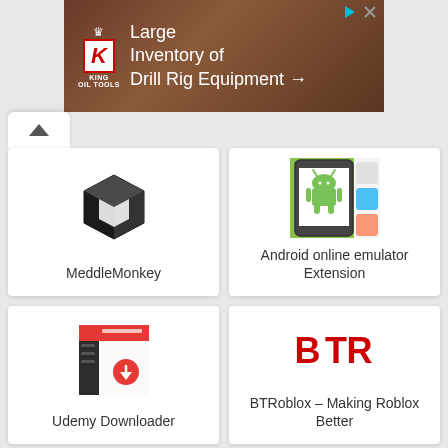[Figure (screenshot): King Oil Tools advertisement banner: Large Inventory of Drill Rig Equipment]
[Figure (screenshot): MeddleMonkey browser extension card with 3D cube icon]
MeddleMonkey
[Figure (screenshot): Android online emulator Extension card with Android robot on phone screen]
Android online emulator Extension
[Figure (screenshot): Udemy Downloader extension card with app screenshot]
Udemy Downloader
[Figure (screenshot): BTRoblox – Making Roblox Better extension card with BTR logo]
BTRoblox – Making Roblox Better